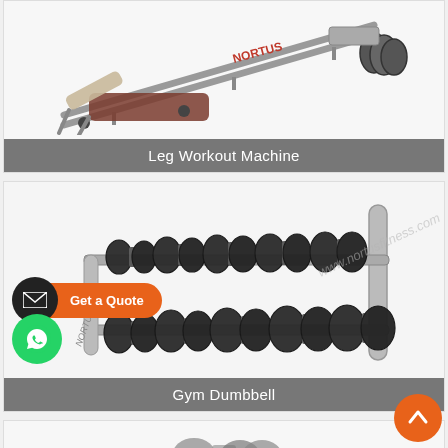[Figure (photo): Leg press / leg workout machine (Nortus brand), silver metal frame with inclined pad, photographed on white background]
Leg Workout Machine
[Figure (photo): Gym dumbbell rack (Nortus brand) with two tiers of rubber hex dumbbells arranged in ascending weight order, silver frame, on light background. Overlaid with 'Get a Quote' CTA button with email icon and WhatsApp icon. Watermark: www.nortusfitness.com]
Gym Dumbbell
[Figure (photo): Partial view of a third fitness product card at bottom of page]